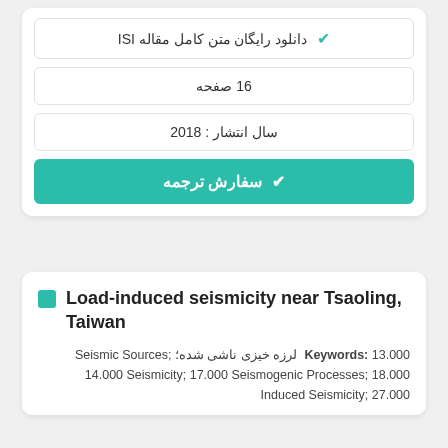✔ دانلود رایگان متن کامل مقاله ISI
16 صفحه
سال انتشار : 2018
✔ سفارش ترجمه
Load-induced seismicity near Tsaoling, Taiwan
Keywords: 13.000 لرزه خیزی ناشی شده; Seismic Sources; 14.000 Seismicity; 17.000 Seismogenic Processes; 18.000 Induced Seismicity; 27.000